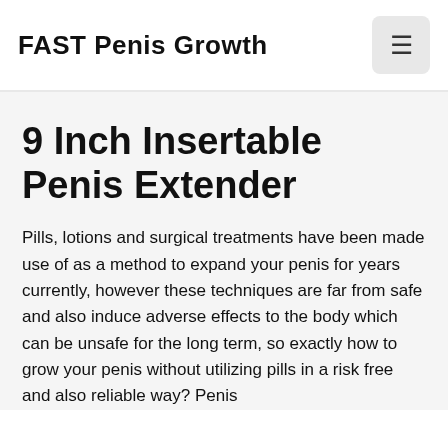FAST Penis Growth
9 Inch Insertable Penis Extender
Pills, lotions and surgical treatments have been made use of as a method to expand your penis for years currently, however these techniques are far from safe and also induce adverse effects to the body which can be unsafe for the long term, so exactly how to grow your penis without utilizing pills in a risk free and also reliable way? Penis